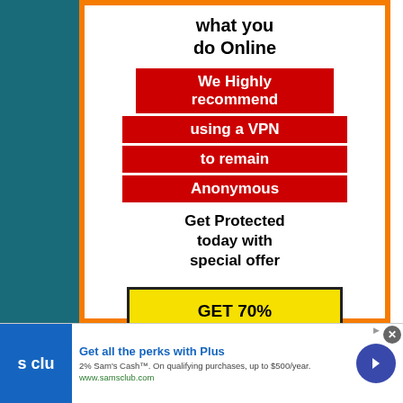[Figure (infographic): VPN advertisement banner with orange border, white background, red highlighted text blocks reading 'We Highly recommend using a VPN to remain Anonymous', black text 'Get Protected today with special offer', and a yellow CTA button 'GET 70% OFF NOW']
what you do Online
We Highly recommend using a VPN to remain Anonymous
Get Protected today with special offer
GET 70% OFF NOW
[Figure (infographic): Sam's Club ad banner: blue logo with 's clu' text, headline 'Get all the perks with Plus', subtext '2% Sam's Cash™. On qualifying purchases, up to $500/year.', URL 'www.samsclub.com', blue circle arrow button, close X button]